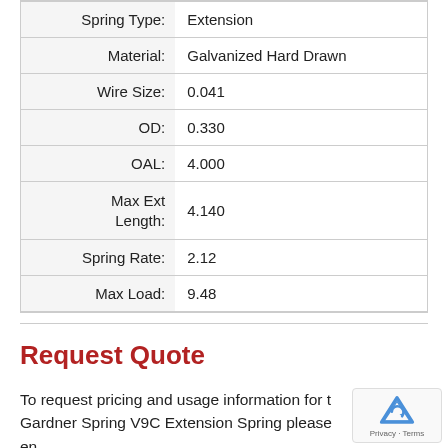| Property | Value |
| --- | --- |
| Spring Type: | Extension |
| Material: | Galvanized Hard Drawn |
| Wire Size: | 0.041 |
| OD: | 0.330 |
| OAL: | 4.000 |
| Max Ext Length: | 4.140 |
| Spring Rate: | 2.12 |
| Max Load: | 9.48 |
Request Quote
To request pricing and usage information for the Gardner Spring V9C Extension Spring please enter your contact info below: